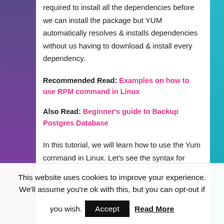required to install all the dependencies before we can install the package but YUM automatically resolves & installs dependencies without us having to download & install every dependency.
Recommended Read: Examples on how to use RPM command in Linux
Also Read: Beginner's guide to Backup Postgres Database
In this tutorial, we will learn how to use the Yum command in Linux. Let's see the syntax for using
This website uses cookies to improve your experience. We'll assume you're ok with this, but you can opt-out if you wish. Accept Read More